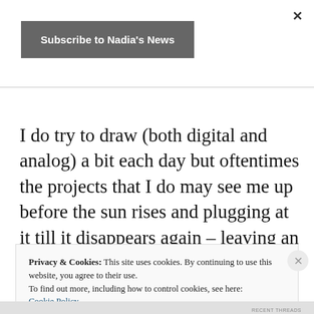×
Subscribe to Nadia's News
I do try to draw (both digital and analog) a bit each day but oftentimes the projects that I do may see me up before the sun rises and plugging at it till it disappears again – leaving an unscratched itch.
Privacy & Cookies: This site uses cookies. By continuing to use this website, you agree to their use.
To find out more, including how to control cookies, see here: Cookie Policy
Close and accept